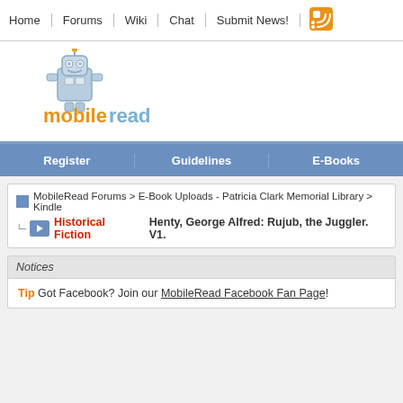Home | Forums | Wiki | Chat | Submit News!
[Figure (logo): MobileRead logo with robot mascot character and orange/blue 'mobileread' text]
Register | Guidelines | E-Books
MobileRead Forums > E-Book Uploads - Patricia Clark Memorial Library > Kindle
Historical Fiction  Henty, George Alfred: Rujub, the Juggler. V1.
Notices
Tip  Got Facebook? Join our MobileRead Facebook Fan Page!